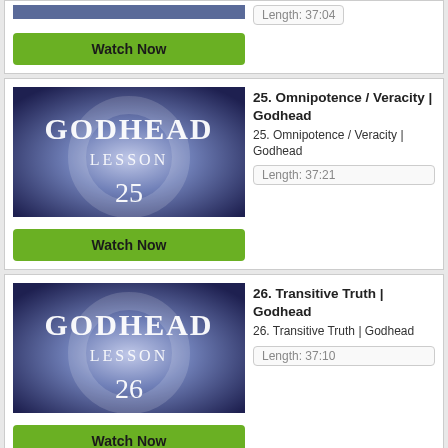[Figure (screenshot): Partial top card showing green Watch Now button]
Watch Now
[Figure (screenshot): Godhead Lesson 25 thumbnail with purple/blue gradient background]
25. Omnipotence / Veracity | Godhead
25. Omnipotence / Veracity | Godhead
Length: 37:21
Watch Now
[Figure (screenshot): Godhead Lesson 26 thumbnail with purple/blue gradient background]
26. Transitive Truth | Godhead
26. Transitive Truth | Godhead
Length: 37:10
Watch Now